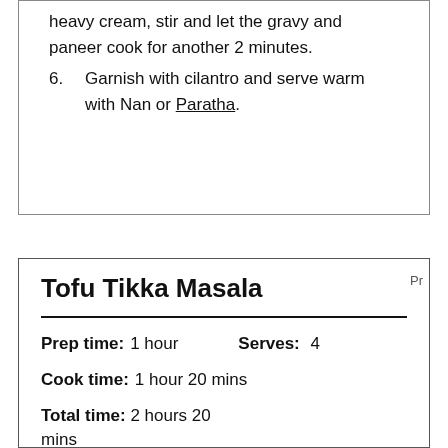heavy cream, stir and let the gravy and paneer cook for another 2 minutes.
6. Garnish with cilantro and serve warm with Nan or Paratha.
Tofu Tikka Masala
Prep time: 1 hour   Serves: 4
Cook time: 1 hour 20 mins
Total time: 2 hours 20 mins